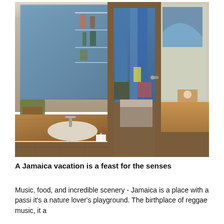[Figure (photo): Hotel room interior showing a bathroom vanity with marble countertop and sink in the foreground, an open door leading to a bedroom with blue curtains and a bed visible in the background, and another marble counter on the right side. Wood-style flooring, glass shelving with toiletries, and white towels on a rack are visible.]
A Jamaica vacation is a feast for the senses
Music, food, and incredible scenery - Jamaica is a place with a passi it's a nature lover's playground. The birthplace of reggae music, it a